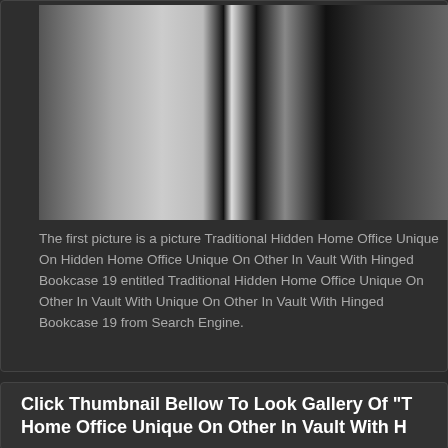[Figure (photo): Partial photo of Traditional Hidden Home Office with dark background and reflective surfaces, appears to be a bookcase or panel system]
The first picture is a picture Traditional Hidden Home Office Unique On Hidden Home Office Unique On Other In Vault With Hinged Bookcase 19 entitled Traditional Hidden Home Office Unique On Other In Vault With Unique On Other In Vault With Hinged Bookcase 19 from Search Engine.
Click Thumbnail Bellow To Look Gallery Of "T Home Office Unique On Other In Vault With H